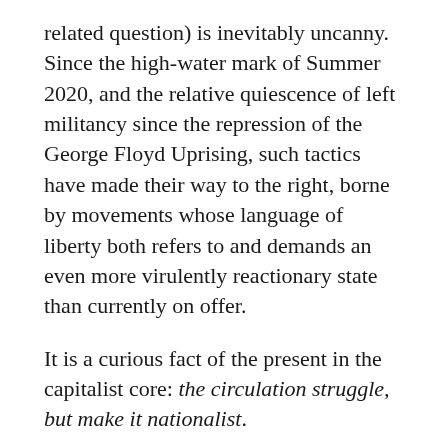related question) is inevitably uncanny. Since the high-water mark of Summer 2020, and the relative quiescence of left militancy since the repression of the George Floyd Uprising, such tactics have made their way to the right, borne by movements whose language of liberty both refers to and demands an even more virulently reactionary state than currently on offer.
It is a curious fact of the present in the capitalist core: the circulation struggle, but make it nationalist.
***
The question of how tactics travel has been much debated. Rarely is it as direct as Group B noticing the effective maneuver of Group A and